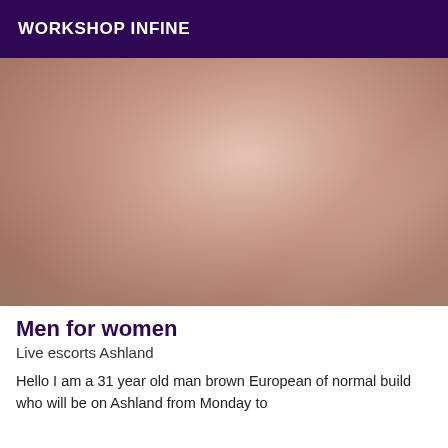WORKSHOP INFINE
[Figure (photo): Close-up photo of a person's torso/back showing skin, with neutral background]
Men for women
Live escorts Ashland
Hello I am a 31 year old man brown European of normal build who will be on Ashland from Monday to